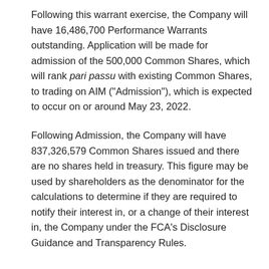Following this warrant exercise, the Company will have 16,486,700 Performance Warrants outstanding. Application will be made for admission of the 500,000 Common Shares, which will rank pari passu with existing Common Shares, to trading on AIM ("Admission"), which is expected to occur on or around May 23, 2022.
Following Admission, the Company will have 837,326,579 Common Shares issued and there are no shares held in treasury. This figure may be used by shareholders as the denominator for the calculations to determine if they are required to notify their interest in, or a change of their interest in, the Company under the FCA's Disclosure Guidance and Transparency Rules.